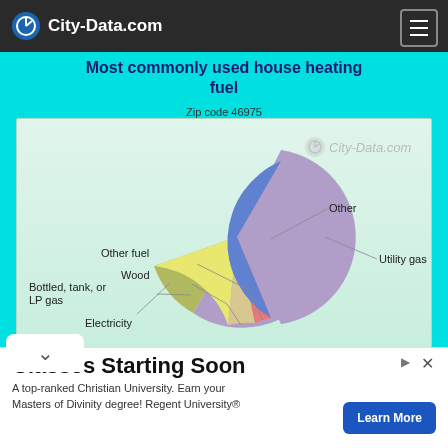City-Data.com
Most commonly used house heating fuel
Zip code 46975
[Figure (pie-chart): Pie chart showing house heating fuel usage. Utility gas is the largest slice (purple/lavender, right side), Electricity is the second largest (olive green, bottom-left), Bottled/tank/LP gas is yellow (left-center), Wood is beige/tan (small, upper-left), Other fuel is pink (tiny), Other is blue (tiny).]
Classes Starting Soon
A top-ranked Christian University. Earn your Masters of Divinity degree! Regent University®
Learn More